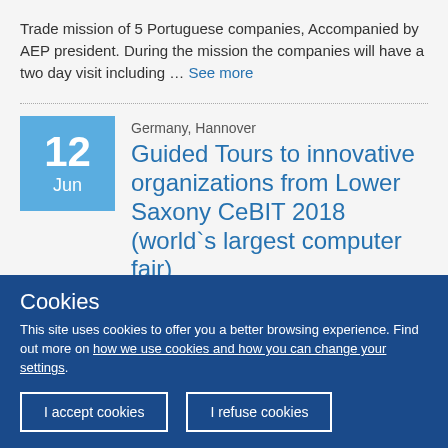Trade mission of 5 Portuguese companies, Accompanied by AEP president. During the mission the companies will have a two day visit including … See more
Germany, Hannover
Guided Tours to innovative organizations from Lower Saxony CeBIT 2018 (world`s largest computer fair)
Cookies
This site uses cookies to offer you a better browsing experience. Find out more on how we use cookies and how you can change your settings.